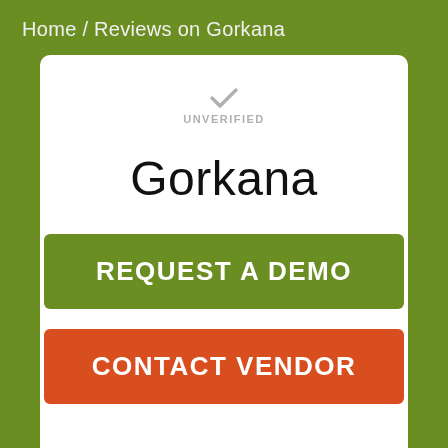Home / Reviews on Gorkana
UNVERIFIED
Gorkana
REQUEST A DEMO
CONTACT VENDOR